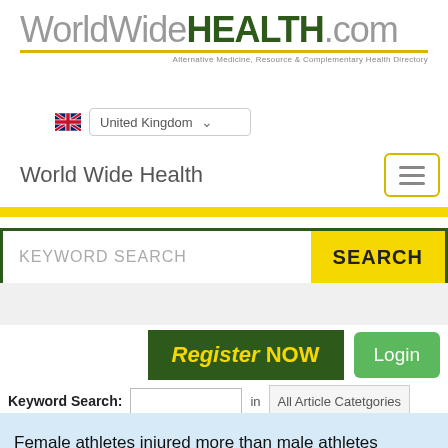[Figure (logo): WorldWideHEALTH.com logo with tagline: Alternative Medicine, Resource & Complementary Health Directory]
United Kingdom (country selector dropdown)
World Wide Health
KEYWORD SEARCH  SEARCH (search bar)
Register NOW
Login
Keyword Search:  in  All Article Catetgories
Female athletes injured more than male athletes